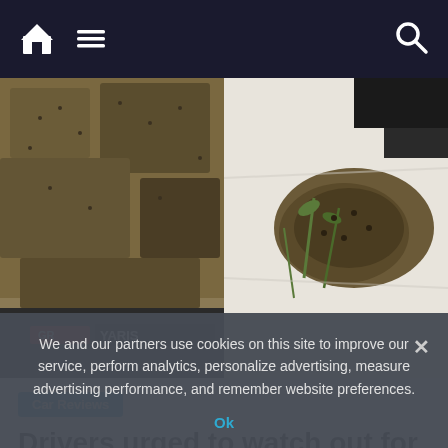Navigation bar with home, menu, and search icons
[Figure (photo): Two photos side by side: left shows a massive swarm of bees covering a GR Yaris car roof and bonnet; right shows bees swarming on a white sheet with green plant stems]
Car Reviews
Drivers urged to watch out for huge swarms of bees landing on cars in
We and our partners use cookies on this site to improve our service, perform analytics, personalize advertising, measure advertising performance, and remember website preferences.
Ok